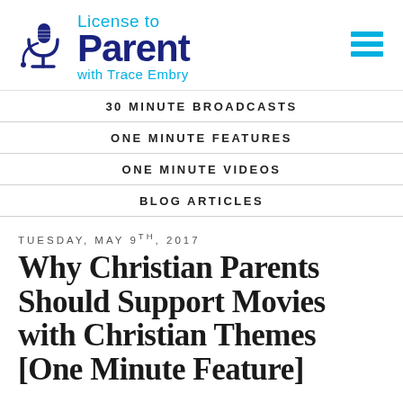[Figure (logo): License to Parent with Trace Embry logo featuring a microphone icon and two-color text]
30 MINUTE BROADCASTS
ONE MINUTE FEATURES
ONE MINUTE VIDEOS
BLOG ARTICLES
TUESDAY, MAY 9TH, 2017
Why Christian Parents Should Support Movies with Christian Themes [One Minute Feature]